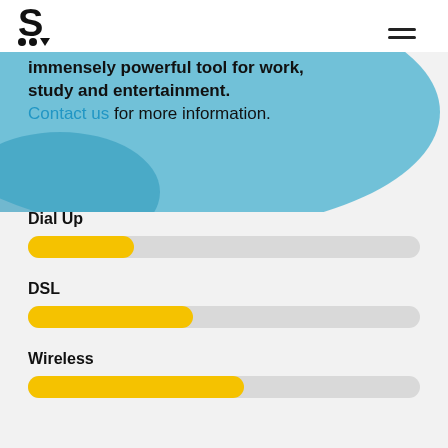[Figure (logo): Bold letter S logo with two dots and a triangle below]
[Figure (other): Hamburger menu icon (two horizontal lines)]
immensely powerful tool for work, study and entertainment. Contact us for more information.
Dial Up
[Figure (bar-chart): Dial Up speed bar]
DSL
[Figure (bar-chart): DSL speed bar]
Wireless
[Figure (bar-chart): Wireless speed bar]